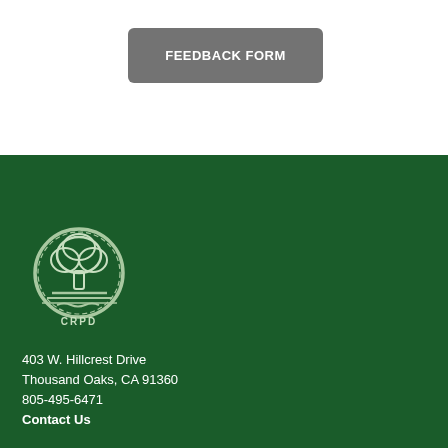FEEDBACK FORM
[Figure (illustration): Dark green footer section with wavy tree-silhouette top edge, CRPD logo (tree inside circle with water waves and CRPD text), address block, and social media icons]
403 W. Hillcrest Drive
Thousand Oaks, CA 91360
805-495-6471
Contact Us